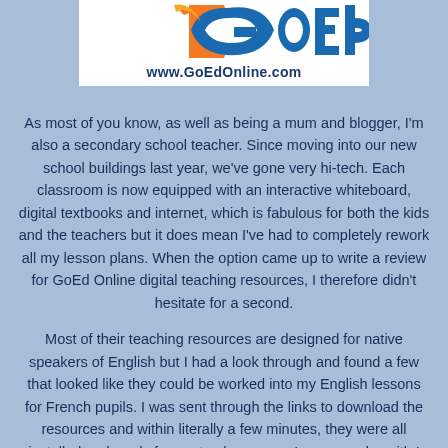[Figure (logo): GoEd logo with orange and blue design, showing partial 'GoEd' text, over white background with URL www.GoEdOnline.com below]
As most of you know, as well as being a mum and blogger, I'm also a secondary school teacher. Since moving into our new school buildings last year, we've gone very hi-tech. Each classroom is now equipped with an interactive whiteboard, digital textbooks and internet, which is fabulous for both the kids and the teachers but it does mean I've had to completely rework all my lesson plans. When the option came up to write a review for GoEd Online digital teaching resources, I therefore didn't hesitate for a second.
Most of their teaching resources are designed for native speakers of English but I had a look through and found a few that looked like they could be worked into my English lessons for French pupils. I was sent through the links to download the resources and within literally a few minutes, they were all installed and ready for me to play - oops, I mean work - with !